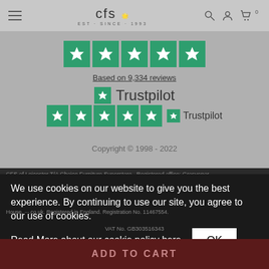CFS – Est. Since 1993 | Navigation: hamburger menu, search, account, cart (0)
[Figure (other): Five green Trustpilot star rating squares in a row (large)]
Based on 9,334 reviews
[Figure (logo): Trustpilot logo with green star and text 'Trustpilot']
[Figure (other): Five green Trustpilot star rating squares in a row (medium) alongside Trustpilot logo]
Copyright © 1998 - 2022
CFS of Leicester T/A Choice Furniture Superstore , Registered office: Grosvenor House, ...
We use cookies on our website to give you the best experience. By continuing to use our site, you agree to our use of cookies.
Read More about our cookie policy here.
OK
VAT No. GB303516343
ADD TO CART